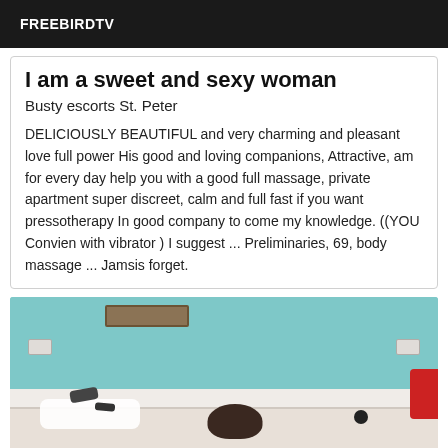FREEBIRDTV
I am a sweet and sexy woman
Busty escorts St. Peter
DELICIOUSLY BEAUTIFUL and very charming and pleasant love full power His good and loving companions, Attractive, am for every day help you with a good full massage, private apartment super discreet, calm and full fast if you want pressotherapy In good company to come my knowledge. ((YOU Convien with vibrator ) I suggest ... Preliminaries, 69, body massage ... Jamsis forget.
[Figure (photo): Photo of a bedroom with teal/turquoise walls, a bed with white sheets, items on the bed, and a woman with dark hair visible at bottom center. Red object visible on right edge.]